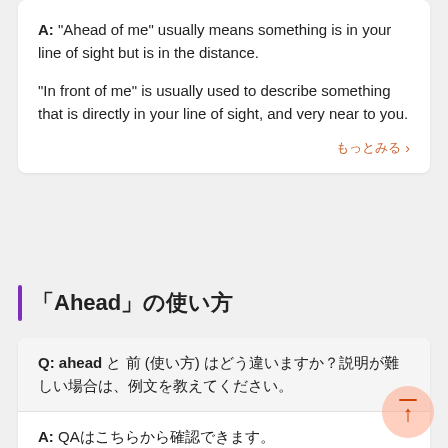A: "Ahead of me" usually means something is in your line of sight but is in the distance.

"In front of me" is usually used to describe something that is directly in your line of sight, and very near to you.
もっとみる >
「Ahead」の使い方
Q: ahead と 前 (使い方) はどう違いますか？説明が難しい場合は、例文を教えてください。
A: QAはこちらから確認できます。
もっとみ...